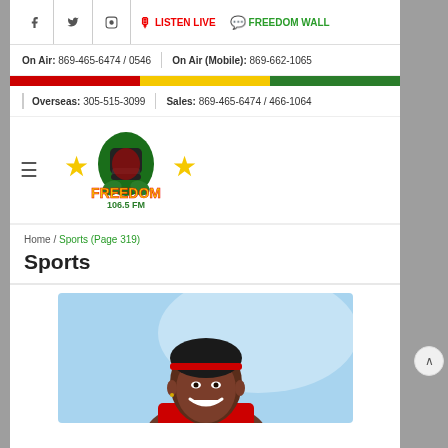Facebook | Twitter | Instagram | LISTEN LIVE | FREEDOM WALL
On Air: 869-465-6474 / 0546 | On Air (Mobile): 869-662-1065
Overseas: 305-515-3099 | Sales: 869-465-6474 / 466-1064
[Figure (logo): Freedom 106.5 FM radio station logo with raised fist, stars, and colorful text]
Home / Sports (Page 319)
Sports
[Figure (photo): Smiling young Black female athlete with red headband, blue sky background]